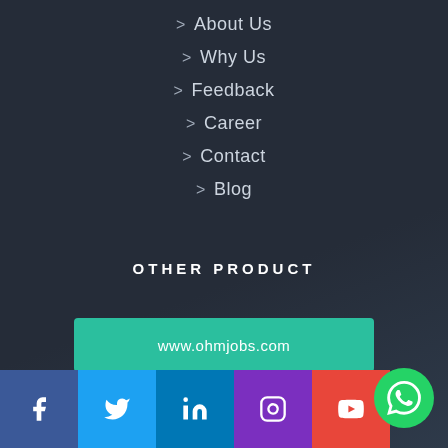> About Us
> Why Us
> Feedback
> Career
> Contact
> Blog
OTHER PRODUCT
www.ohmjobs.com
[Figure (infographic): Social media icons row: Facebook, Twitter, LinkedIn, Instagram, YouTube; WhatsApp floating button]